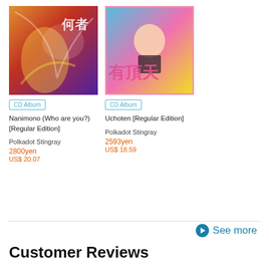[Figure (photo): Album cover for Nanimono (Who are you?) [Regular Edition] by Polkadot Stingray — colorful anime-style artwork]
[Figure (photo): Album cover for Uchoten [Regular Edition] by Polkadot Stingray — photo of male singer with Japanese characters]
CD Album
Nanimono (Who are you?) [Regular Edition]
Polkadot Stingray
2800yen
US$ 20.07
CD Album
Uchoten [Regular Edition]
Polkadot Stingray
2593yen
US$ 18.59
See more
Customer Reviews